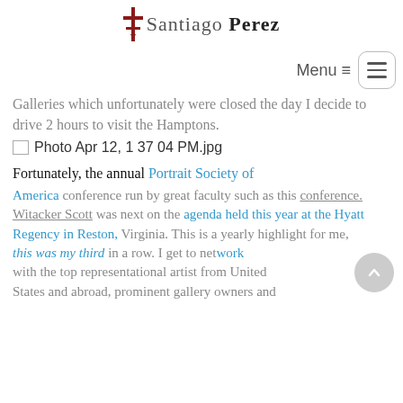Santiago Perez
Galleries which unfortunately were closed the day I decide to drive 2 hours to visit the Hamptons.
[Figure (other): Photo Apr 12, 1 37 04 PM.jpg placeholder image]
Fortunately, the annual Portrait Society of America conference run by great faculty such as this conference. Witacker Scott was next on the agenda held this year at the Hyatt Regency in Reston, Virginia. This is a yearly highlight for me, this was my third in a row. I get to network with the top representational artist from United States and abroad, prominent gallery owners and
This website uses cookies to ensure you get the best experience on our website. Learn more
Got it!